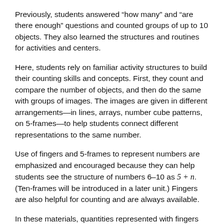Previously, students answered “how many” and “are there enough” questions and counted groups of up to 10 objects. They also learned the structures and routines for activities and centers.
Here, students rely on familiar activity structures to build their counting skills and concepts. First, they count and compare the number of objects, and then do the same with groups of images. The images are given in different arrangements—in lines, arrays, number cube patterns, on 5-frames—to help students connect different representations to the same number.
Use of fingers and 5-frames to represent numbers are emphasized and encouraged because they can help students see the structure of numbers 6–10 as 5 + n. (Ten-frames will be introduced in a later unit.) Fingers are also helpful for counting and are always available.
In these materials, quantities represented with fingers are